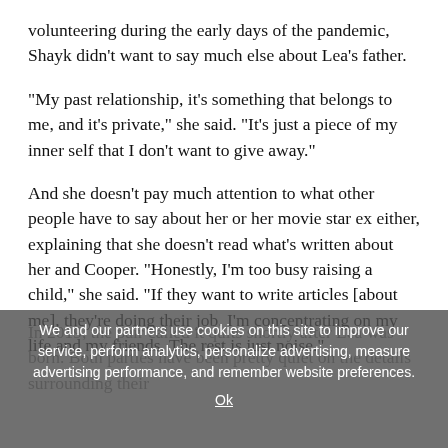volunteering during the early days of the pandemic, Shayk didn't want to say much else about Lea's father.
“My past relationship, it’s something that belongs to me, and it’s private,” she said. “It’s just a piece of my inner self that I don’t want to give away.”
And she doesn’t pay much attention to what other people have to say about her or her movie star ex either, explaining that she doesn’t read what’s written about her and Cooper. “Honestly, I’m too busy raising a child,” she said. “If they want to write articles [about me], they’re doing their job. I’m concentrating on my life and my friends. The rest is just noise.”
In 2019, the pair called it quits shortly after Lea was born. Both parties have been pretty quiet on the details surrounding their
We and our partners use cookies on this site to improve our service, perform analytics, personalize advertising, measure advertising performance, and remember website preferences.
Ok